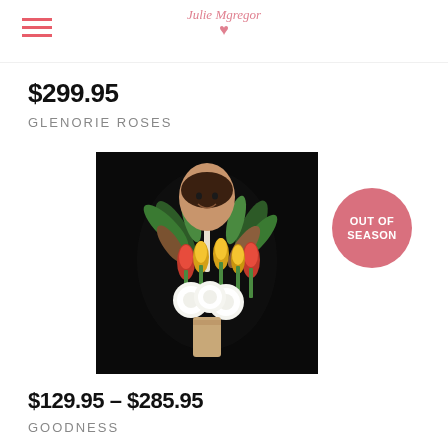Julie McGregor Flowers
$299.95
GLENORIE ROSES
[Figure (photo): Woman smiling holding a large bouquet of flowers including red and yellow tulips, white chrysanthemums, tall white stock flowers, and tropical greenery, photographed against a black background]
OUT OF SEASON
$129.95 - $285.95
GOODNESS